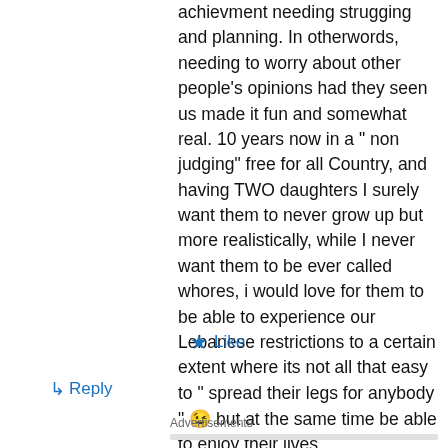achievment needing strugging and planning. In otherwords, needing to worry about other people's opinions had they seen us made it fun and somewhat real. 10 years now in a " non judging" free for all Country, and having TWO daughters I surely want them to never grow up but more realistically, while I never want them to be ever called whores, i would love for them to be able to experience our Lebanese restrictions to a certain extent where its not all that easy to " spread their legs for anybody " 😉 but at the same time be able to enjoy their lives.
★ Like
↳ Reply
Advertisements